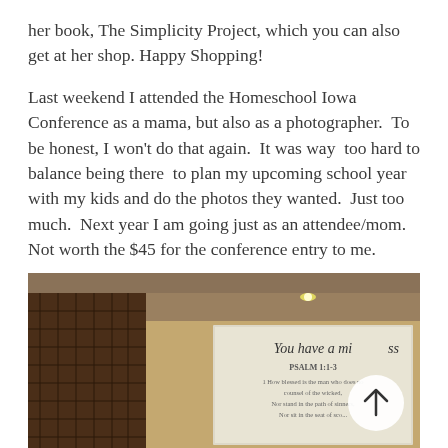her book, The Simplicity Project, which you can also get at her shop.  Happy Shopping!
Last weekend I attended the Homeschool Iowa Conference as a mama, but also as a photographer.  To be honest, I won't do that again.  It was way  too hard to balance being there  to plan my upcoming school year with my kids and do the photos they wanted.  Just too much.  Next year I am going just as an attendee/mom.  Not worth the $45 for the conference entry to me.
[Figure (photo): Interior photo of a room or conference hall showing a projection screen displaying text 'You have a mis...' and 'PSALM 1:1-3' with smaller text below it, with decorative brick/tile wall on the left and wooden ceiling paneling above.]